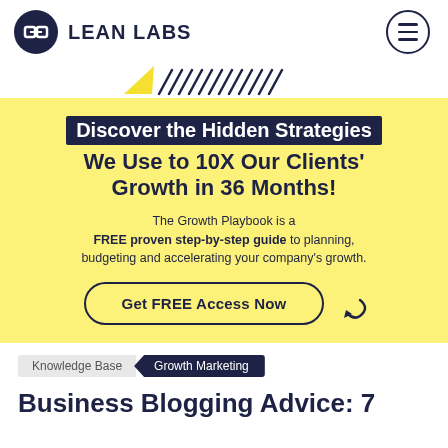LEAN LABS
[Figure (illustration): Diagonal hash/stripe decorative element in dark and yellow colors]
Discover the Hidden Strategies We Use to 10X Our Clients' Growth in 36 Months!
The Growth Playbook is a FREE proven step-by-step guide to planning, budgeting and accelerating your company's growth.
Get FREE Access Now
Knowledge Base  Growth Marketing
Business Blogging Advice: 7